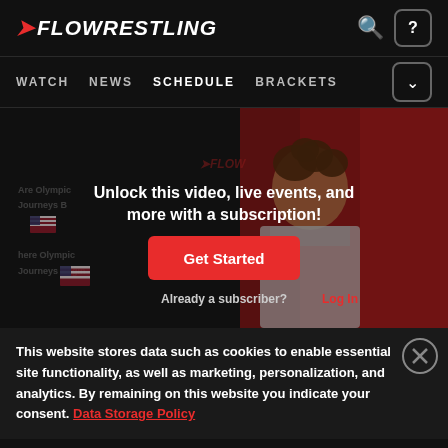FLOWRESTLING — WATCH  NEWS  SCHEDULE  BRACKETS
[Figure (screenshot): Video thumbnail showing a wrestler with curly hair against a red background, overlaid with subscription prompt text 'Unlock this video, live events, and more with a subscription!' and a red 'Get Started' button, plus 'Already a subscriber? Log In' text.]
This website stores data such as cookies to enable essential site functionality, as well as marketing, personalization, and analytics. By remaining on this website you indicate your consent. Data Storage Policy